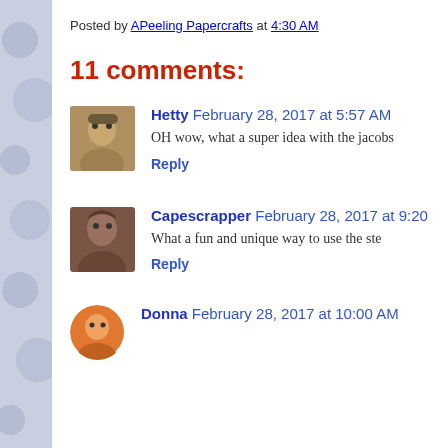Posted by APeeling Papercrafts at 4:30 AM
11 comments:
Hetty February 28, 2017 at 5:57 AM
OH wow, what a super idea with the jacobs
Reply
Capescrapper February 28, 2017 at 9:20
What a fun and unique way to use the ste
Reply
Donna February 28, 2017 at 10:00 AM